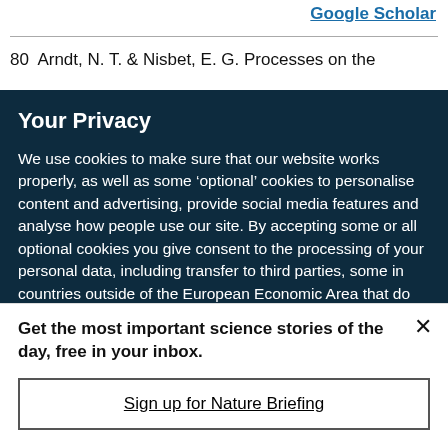Google Scholar
80  Arndt, N. T. & Nisbet, E. G. Processes on the
Your Privacy
We use cookies to make sure that our website works properly, as well as some ‘optional’ cookies to personalise content and advertising, provide social media features and analyse how people use our site. By accepting some or all optional cookies you give consent to the processing of your personal data, including transfer to third parties, some in countries outside of the European Economic Area that do not offer the same data protection standards as the country where you live. You can decide which optional cookies to accept by clicking on ‘Manage Settings’, where you can
Get the most important science stories of the day, free in your inbox.
Sign up for Nature Briefing